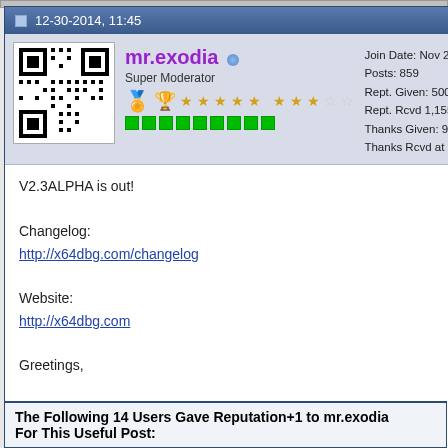12-30-2014, 11:45
[Figure (other): QR code avatar for user mr.exodia]
mr.exodia
Super Moderator
Join Date: Nov 2011
Posts: 859
Rept. Given: 500
Rept. Rcvd 1,155 Times in 3
Thanks Given: 95
Thanks Rcvd at 766 Times i
V2.3ALPHA is out!

Changelog:
http://x64dbg.com/changelog

Website:
http://x64dbg.com

Greetings,

Mr. eXoDia

x64dbg: http://x64dbg.com
My Blog: http://mrexodia.cf
The Following 14 Users Gave Reputation+1 to mr.exodia For This Useful Post: